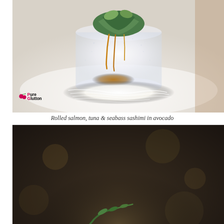[Figure (photo): Close-up food photo of rolled salmon, tuna and seabass sashimi in avocado, presented in a cylindrical ice/daikon radish wrap, topped with green herbs and avocado slices, drizzled with sauce, served on a white plate with daikon radish threads. Pure Glutton logo visible in bottom left of photo.]
Rolled salmon, tuna & seabass sashimi in avocado
[Figure (photo): Blurred/bokeh food photo with dark brown background, showing what appears to be a dish with green garnish/herbs in the foreground, partially out of focus.]